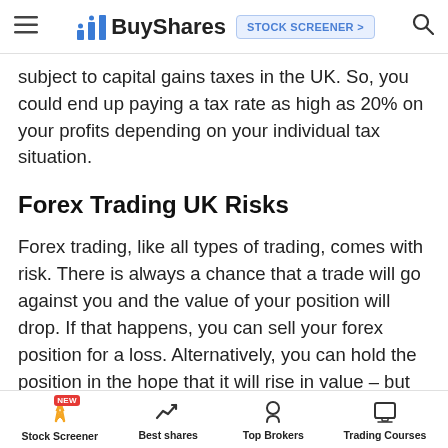BuyShares — STOCK SCREENER >
subject to capital gains taxes in the UK. So, you could end up paying a tax rate as high as 20% on your profits depending on your individual tax situation.
Forex Trading UK Risks
Forex trading, like all types of trading, comes with risk. There is always a chance that a trade will go against you and the value of your position will drop. If that happens, you can sell your forex position for a loss. Alternatively, you can hold the position in the hope that it will rise in value – but there's no guarantee that will happen, and you could end up taking a greater loss.
It's important to keep in mind that using leverage
Stock Screener | Best shares | Top Brokers | Trading Courses